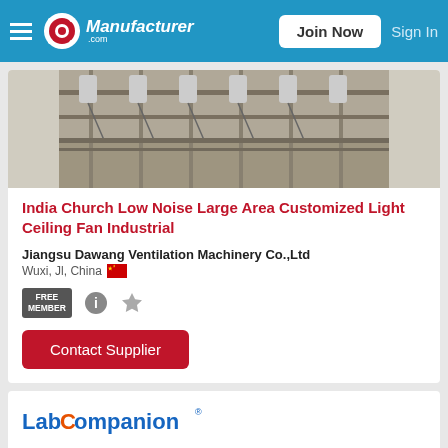Manufacturer.com — Join Now | Sign In
[Figure (photo): Industrial ceiling fan installation in a large warehouse or industrial building, showing fans mounted on ceiling structure with cables]
India Church Low Noise Large Area Customized Light Ceiling Fan Industrial
Jiangsu Dawang Ventilation Machinery Co.,Ltd
Wuxi, Jl, China 🇨🇳
FREE MEMBER
Contact Supplier
[Figure (logo): LabCompanion logo in blue and orange text with registered trademark symbol]